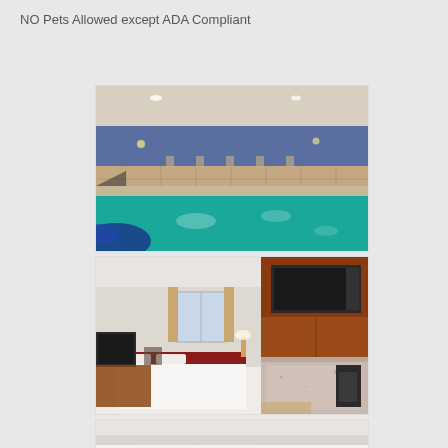NO Pets Allowed except ADA Compliant
[Figure (photo): Indoor hotel swimming pool with teal water, blue accent walls with stone tile wainscoting, ceiling lights, and lounge chairs in background]
[Figure (photo): Hotel room showing a bed with red accent blanket, TV on dresser, desk, window with curtains, and kitchenette area with microwave, granite counter, and coffee maker]
[Figure (photo): Partial view of hotel room showing white bedding and ceiling]